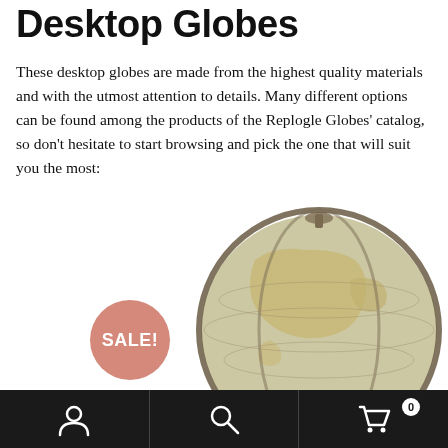Desktop Globes
These desktop globes are made from the highest quality materials and with the utmost attention to details. Many different options can be found among the products of the Replogle Globes' catalog, so don't hesitate to start browsing and pick the one that will suit you the most:
Default sorting
Showing all 7 results
[Figure (photo): A desktop globe with antique-style cartography showing North America, with a metal meridian ring and a sale badge overlay]
Navigation bar with user account icon, search icon, and shopping cart icon showing 0 items